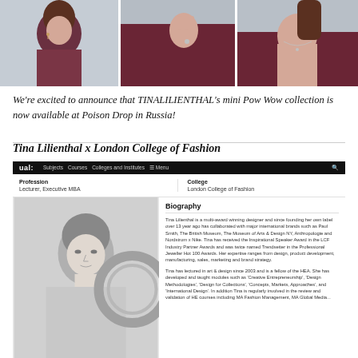[Figure (photo): Three-panel photo strip of a woman in a dark red/burgundy top wearing jewelry (earrings, ring, necklace) against a light grey background]
We're excited to announce that TINALILIENTHAL's mini Pow Wow collection is now available at Poison Drop in Russia!
Tina Lilienthal x London College of Fashion
[Figure (screenshot): Screenshot of UAL (University of the Arts London) website profile page for Tina Lilienthal. Shows navigation bar, Profession: Lecturer, Executive MBA, College: London College of Fashion, a black-and-white portrait photo, Biography section with text about Tina Lilienthal being a multi-award winning designer.]